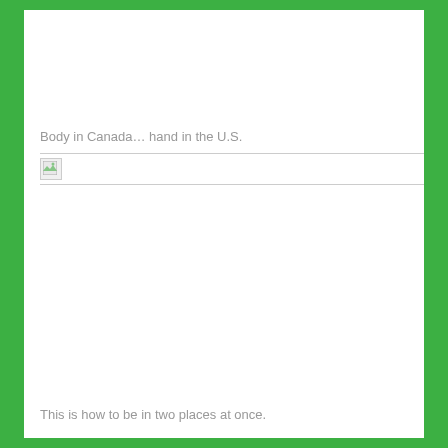Body in Canada… hand in the U.S.
[Figure (photo): Broken/missing image placeholder with small icon]
This is how to be in two places at once.